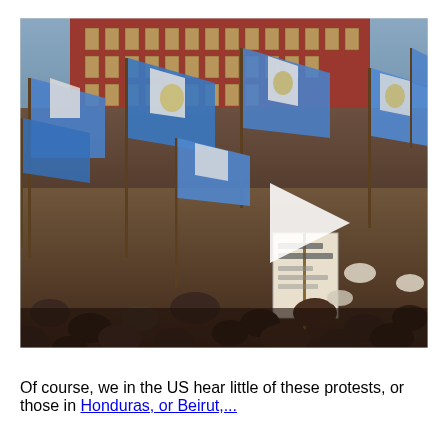[Figure (photo): Crowd of protesters waving blue and white Guatemalan flags in front of a red brick building. A white play button triangle is overlaid on the center-right of the image, indicating a video thumbnail.]
Of course, we in the US hear little of these protests, or those in Honduras, or Beirut,...